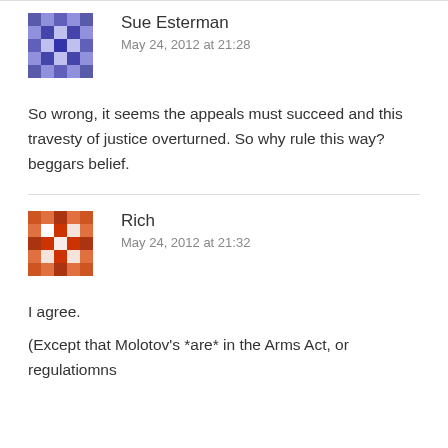[Figure (illustration): Purple pixel/mosaic avatar icon for user Sue Esterman]
Sue Esterman
May 24, 2012 at 21:28
So wrong, it seems the appeals must succeed and this travesty of justice overturned. So why rule this way? beggars belief.
[Figure (illustration): Red/brown pixel/mosaic avatar icon for user Rich]
Rich
May 24, 2012 at 21:32
I agree.
(Except that Molotov's *are* in the Arms Act, or regulatiomns